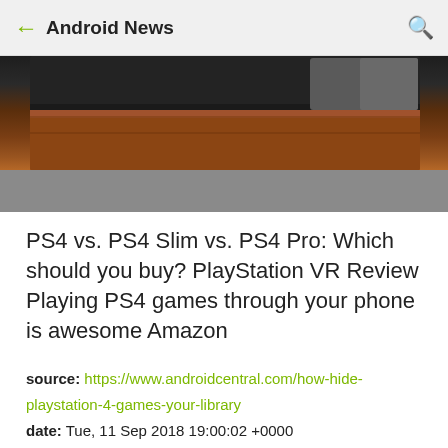Android News
[Figure (photo): Close-up photo of a PS4 console sitting on a wooden surface, partially visible from above showing the dark top and ventilation, with a brown wooden shelf in the background.]
PS4 vs. PS4 Slim vs. PS4 Pro: Which should you buy? PlayStation VR Review Playing PS4 games through your phone is awesome Amazon
source: https://www.androidcentral.com/how-hide-playstation-4-games-your-library
date: Tue, 11 Sep 2018 19:00:02 +0000